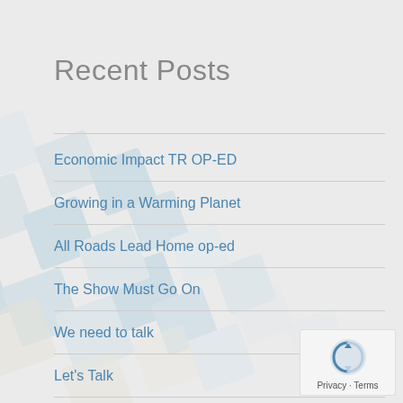Recent Posts
Economic Impact TR OP-ED
Growing in a Warming Planet
All Roads Lead Home op-ed
The Show Must Go On
We need to talk
Let's Talk
Let's Get it Together
Francophones in Algoma
Straight from the Tap